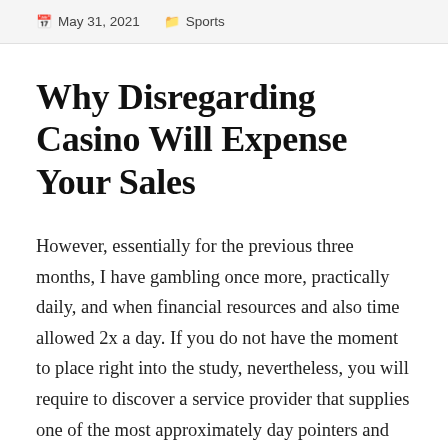May 31, 2021   Sports
Why Disregarding Casino Will Expense Your Sales
However, essentially for the previous three months, I have gambling once more, practically daily, and when financial resources and also time allowed 2x a day. If you do not have the moment to place right into the study, nevertheless, you will require to discover a service provider that supplies one of the most approximately day pointers and inside expertise. So, attempt all these ideas currently! It can be that you’re a computer system wizard trying to find a possibility to check out playing casino video games online. They will likewise assist you in